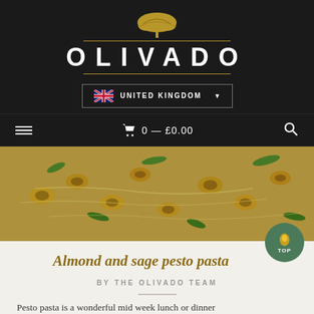[Figure (logo): Olivado brand logo with tree icon, gold lines, and white OLIVADO text on dark background]
[Figure (screenshot): United Kingdom country selector dropdown with UK flag]
[Figure (screenshot): Navigation bar with hamburger menu, shopping cart showing 0 — £0.00, and search icon]
[Figure (photo): Close-up photo of almond and sage pesto pasta with green herbs and parmesan]
Almond and sage pesto pasta
BY THE OLIVADO TEAM
Pesto pasta is a wonderful mid week lunch or dinner